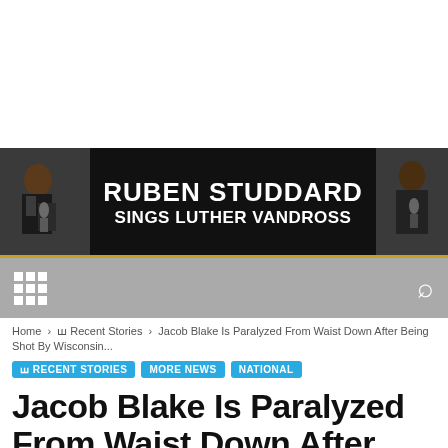[Figure (illustration): Advertisement banner: Ruben Studdard Sings Luther Vandross, black background with two singing figures on either side]
Home › ꟺ Recent Stories › Jacob Blake Is Paralyzed From Waist Down After Being Shot By Wisconsin...
ꟺ RECENT STORIES
MORE NEWS
NATIONAL
Jacob Blake Is Paralyzed From Waist Down After Being Shot By Wisconsin Police